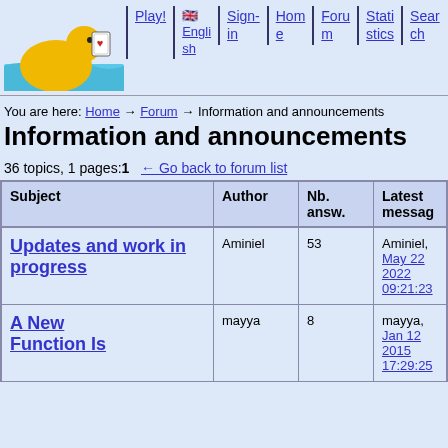[Figure (logo): Yellow rubber duck logo with waves and a playing card]
Play! | English | Sign-in | Home | Forum | Statistics | Search
You are here: Home → Forum → Information and announcements
Information and announcements
36 topics, 1 pages: 1  ← Go back to forum list
| Subject | Author | Nb. answ. | Latest message |
| --- | --- | --- | --- |
| Updates and work in progress | Aminiel | 53 | Aminiel, May 22 2022 09:21:23 |
| A New Function Is | mayya | 8 | mayya, Jan 12 2015 17:29:25 |